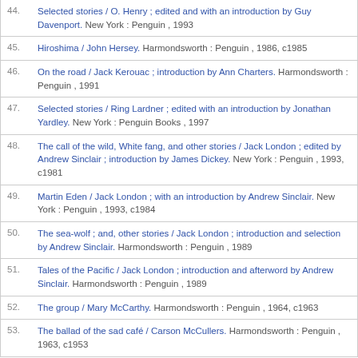44. Selected stories / O. Henry ; edited and with an introduction by Guy Davenport. New York : Penguin , 1993
45. Hiroshima / John Hersey. Harmondsworth : Penguin , 1986, c1985
46. On the road / Jack Kerouac ; introduction by Ann Charters. Harmondsworth : Penguin , 1991
47. Selected stories / Ring Lardner ; edited with an introduction by Jonathan Yardley. New York : Penguin Books , 1997
48. The call of the wild, White fang, and other stories / Jack London ; edited by Andrew Sinclair ; introduction by James Dickey. New York : Penguin , 1993, c1981
49. Martin Eden / Jack London ; with an introduction by Andrew Sinclair. New York : Penguin , 1993, c1984
50. The sea-wolf ; and, other stories / Jack London ; introduction and selection by Andrew Sinclair. Harmondsworth : Penguin , 1989
51. Tales of the Pacific / Jack London ; introduction and afterword by Andrew Sinclair. Harmondsworth : Penguin , 1989
52. The group / Mary McCarthy. Harmondsworth : Penguin , 1964, c1963
53. The ballad of the sad café / Carson McCullers. Harmondsworth : Penguin , 1963, c1953
54. Clock without hands / Carson McCullers. Harmondsworth : Penguin , 1965, c1961